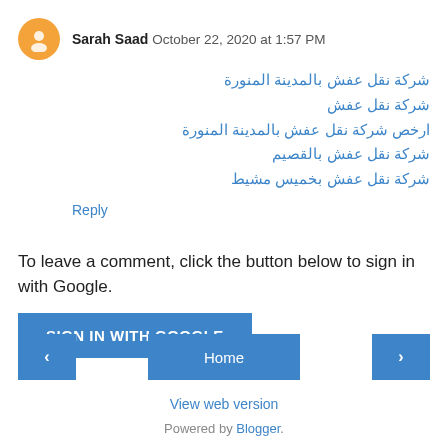Sarah Saad  October 22, 2020 at 1:57 PM
شركة نقل عفش بالمدينة المنورة
شركة نقل عفش
ارخص شركة نقل عفش بالمدينة المنورة
شركة نقل عفش بالقصيم
شركة نقل عفش بخميس مشيط
Reply
To leave a comment, click the button below to sign in with Google.
SIGN IN WITH GOOGLE
‹
Home
›
View web version
Powered by Blogger.